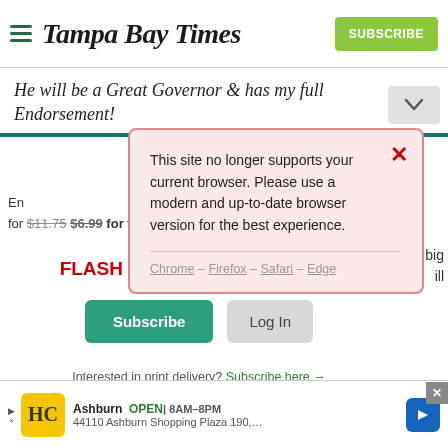Tampa Bay Times | SUBSCRIBE
He will be a Great Governor & has my full Endorsement!
[Figure (screenshot): Browser compatibility warning modal popup with red border on pink background. Text reads: 'This site no longer supports your current browser. Please use a modern and up-to-date browser version for the best experience.' Browser links: Chrome – Firefox – Safari – Edge. Red X close button in top right.]
FLASH SALE: $3 for 3 months!
Subscribe
Log In
Interested in print delivery? Subscribe here →
[Figure (screenshot): Bottom ad bar showing HC (Home Cleaning) business ad for Ashburn location, OPEN 8AM-8PM, 44110 Ashburn Shopping Plaza 190, with navigation arrow icon.]